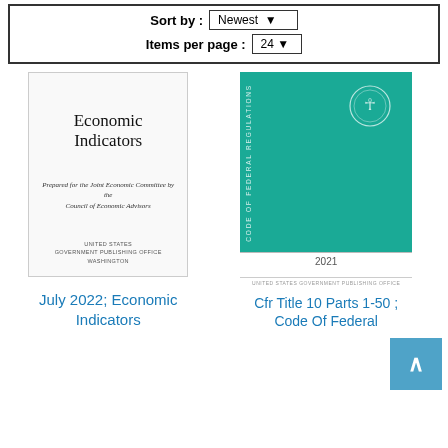Sort by: Newest   Items per page: 24
[Figure (illustration): Book cover thumbnail for 'Economic Indicators' prepared for the Joint Economic Committee by the Council of Economic Advisors, United States Government Publishing Office, Washington]
[Figure (illustration): Book cover thumbnail for 'Code of Federal Regulations' teal cover with US government seal, year 2021, United States Government Publishing Office]
July 2022; Economic Indicators
Cfr Title 10 Parts 1-50 ; Code Of Federal...